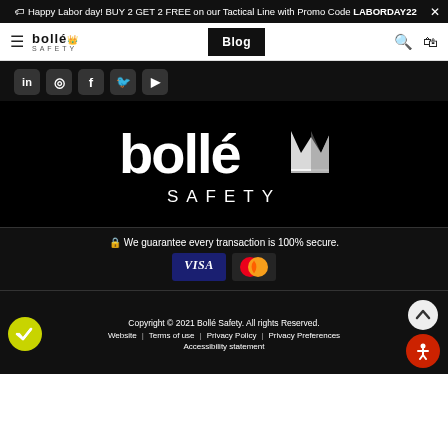🏷 Happy Labor day! BUY 2 GET 2 FREE on our Tactical Line with Promo Code LABORDAY22
bollé SAFETY — Blog navigation with hamburger menu, search, and bag icons
[Figure (logo): Social media icons: LinkedIn, Instagram, Facebook, Twitter, YouTube on dark background]
[Figure (logo): Bollé Safety logo in white on black background with crown icon]
🔒 We guarantee every transaction is 100% secure.
[Figure (other): VISA and Mastercard payment icons]
Copyright © 2021 Bollé Safety. All rights Reserved. Website  Terms of use  Privacy Policy  Privacy Preferences  Accessibility statement